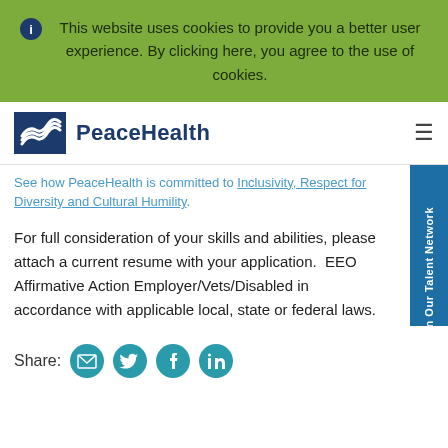This website uses cookies to provide you a better user experience. By clicking here, you agree to the use of cookies.
[Figure (logo): PeaceHealth logo with blue square containing stylized wave and PeaceHealth text]
See how PeaceHealth is committed to Inclusivity, Respect for Diversity and Cultural Humility.
For full consideration of your skills and abilities, please attach a current resume with your application.  EEO Affirmative Action Employer/Vets/Disabled in accordance with applicable local, state or federal laws.
Share: